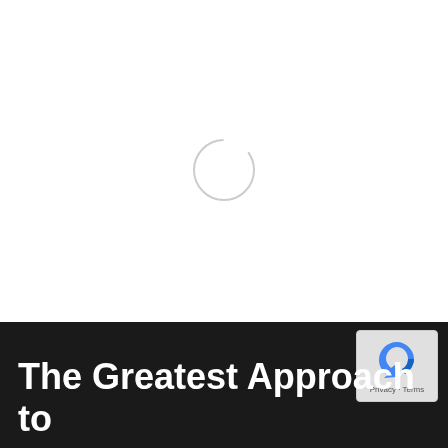[Figure (other): Loading spinner circle — a thin-stroked light gray circle outline centered in white area, resembling a browser loading indicator]
[Figure (logo): reCAPTCHA badge in bottom right corner showing the reCAPTCHA logo (blue circular arrow icon) with Privacy and Terms text links]
The Greatest Approach to